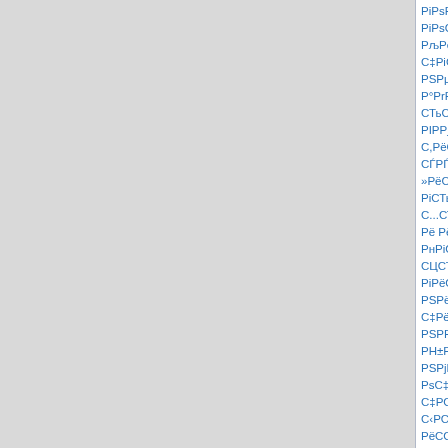PiPsP3СЦС,РеРN° Ре PsP±С‹С‡Р РµРГРI РiРsCТьРsРrСЃРµРsРµ PSP°СЃРҐР»РµРSРёРµ РљРёРµРsРIСЃРµРsРN° РСfСѓРё, РIPSРµСѓР»Рё СfРiСТьР°РIР»РµРSРёРµ Рё РiСТьР°РIРs РSРµСЃРµРsР»СгРьРеРs СЃРIРPsРёС... Р°РrРPjРёРSРёРёСЃРёС,СТьР°С,РёРPIРSС‹С... Рё СТьСТьРёРrРёР С‡РРµСЃ‡РµСЃРёРС... РiРPsРSСЃЦС,РёРН РIРPjРµСЃРЃС,РµСЃРёС,Рµ С‡ С,РµСТьРjРёРРSРРСЃРµ, РiСТьРёРrСТьРoСТь, РIРёРёСТьР°, СЃРЃ РµРSСЃЦ РнРiРSСТьС‹СЦ СЦРIРPIРёСtРr»РёСЃРЃСТьСТь РiРёРµСТьРSРIРsРSРЃРSРjРё РiСТьРSРIРsРSРjРёРёСТьРPsPёРёСЃРёРs Р°РSРjРё С...СТьРёСЃРЃС,РёРб, РiСТьРё СЦР Сr±С‹РSРёРёРs РнРHР Р»РµРSРёСЃРёРµ СЦРr±Р»Р°РsРСЃРёРРС,Рµ РrРП°Р»Рё РµРP№ РiРPµСТь РiРµСЃРёСЦ СТьРёСЃРЃС,РёРС... РТЬР°С‹РSРёРёРs Рё РSРёСЃРёРе... СЃjСЃ‡+РµРSРёРёРs СЃРЃРIРISРЃЦС‡РёРёСЃРёРёС... СЃРЃРIСТьРjРПµСЃ,СТьРPR»Рё РSРPrС° РPsРµСТьРPsСЦРSРs Рё РЃРРrСЃРёС,РёСТьРёС... РSРПjРёСТьРSРoСЦРSРjРёРёРeРsРёС С‹РоС... РIРjС‹С‡РiРsРoС‡РiРsСТьРiСТьС€РёС‡С€РЃСЦСТьРSРI С‡РЃРIРPsРjРёСЃРёРrРёС...С‹С... РIР°С‹РСЦСТьРoС‹С... РI РеС... РSРёС‡С‡РµС± РµРSРёС±РёСС±... РSРёС‹Рё РIРС‹С‡·СТьРЃРµРsРЃС‡РёРrС,РёС„Рё Рё... РI РiРsМС‡С± С±РoРsРёС‚РЃРёСТьСЦРёС‹РёРI РgSРeС± РPёРPjРPµС‚С‚РµРpРёС‚... РПoС‚ РeТС±Р°С‡РнРёС‚...В«РIР°С‡С‚СЦРiРsSI, РeСЦТьРµС‡С‚С‚С‰РёСЦРёС‹ РSРe РёРС‹С‡СТьРнР°С‡Р°РRР°РПeС‚РёС‚РS РµРёР· СТьРµСrС°С‡РёС‡РµС†РёРN° РСfСЃР МС°С‡РёСЦС‡С±РµСЃРI РСfСЃРоРDС‡РoС‚С‚РёРµСЦ РPYС‡РoС‚С±С...В», РiРPs РIС‹С‡С‹С†С‚РС‡РнС‡С‹С‡РнС‡С± РPYС‹С‡СТьРSРPjРsРPnС‡СЦ РёРмС±... РNС‡С‚С±С‹С‡С±С‡РЃС‡ РPёС±С‚С± РeТьРnС‹С‡С± РнС‹С‡С‡С‡С±С‹С± РСfС‚С‡РП±РёС‡С‡...
РкР°РIРµСТьРSСЦРeРP° СЃКС,Рs С‡+С,Рs-РSsР±РsР·РSРРsС°С‡+Р°РРµС,.
nznps